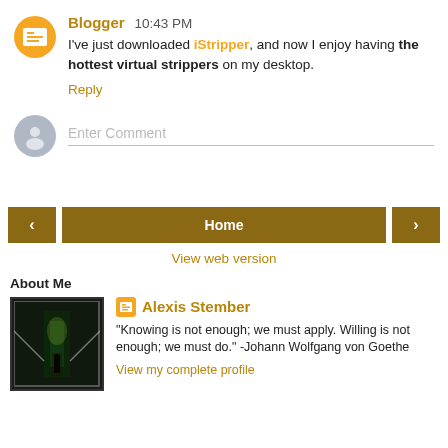Blogger  10:43 PM
I've just downloaded iStripper, and now I enjoy having the hottest virtual strippers on my desktop.
Reply
[Figure (screenshot): Comment input box with gray avatar icon and 'Enter Comment' placeholder text]
[Figure (infographic): Navigation buttons: left arrow, Home, right arrow, and View web version link]
About Me
Alexis Stember
"Knowing is not enough; we must apply. Willing is not enough; we must do." -Johann Wolfgang von Goethe
View my complete profile